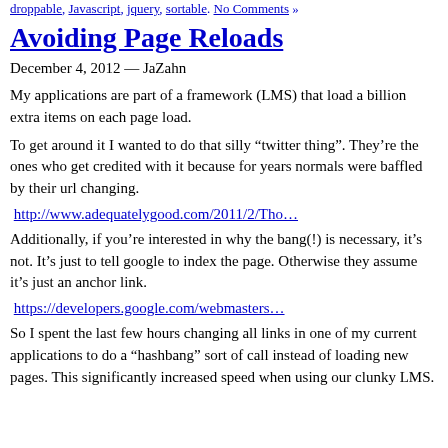droppable, Javascript, jquery, sortable. No Comments »
Avoiding Page Reloads
December 4, 2012 — JaZahn
My applications are part of a framework (LMS) that load a billion extra items on each page load.
To get around it I wanted to do that silly “twitter thing”. They’re the ones who get credited with it because for years normals were baffled by their url changing.
http://www.adequatelygood.com/2011/2/Tho…
Additionally, if you’re interested in why the bang(!) is necessary, it’s not. It’s just to tell google to index the page. Otherwise they assume it’s just an anchor link.
https://developers.google.com/webmasters…
So I spent the last few hours changing all links in one of my current applications to do a “hashbang” sort of call instead of loading new pages. This significantly increased speed when using our clunky LMS.